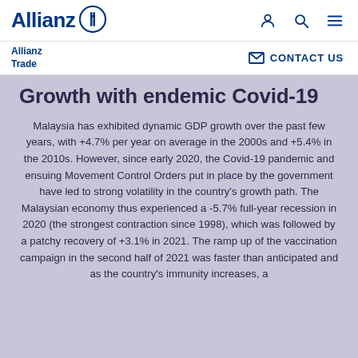Allianz | navigation icons (person, search, menu)
Allianz Trade | CONTACT US
Growth with endemic Covid-19
Malaysia has exhibited dynamic GDP growth over the past few years, with +4.7% per year on average in the 2000s and +5.4% in the 2010s. However, since early 2020, the Covid-19 pandemic and ensuing Movement Control Orders put in place by the government have led to strong volatility in the country's growth path. The Malaysian economy thus experienced a -5.7% full-year recession in 2020 (the strongest contraction since 1998), which was followed by a patchy recovery of +3.1% in 2021. The ramp up of the vaccination campaign in the second half of 2021 was faster than anticipated and as the country's immunity increases, a